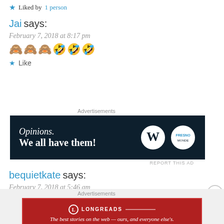★ Liked by 1 person
Jai says:
February 7, 2018 at 8:17 pm
🙈🙈🙈🤣🤣🤣
★ Like
[Figure (screenshot): Advertisement banner: dark navy background with text 'Opinions. We all have them!' and WordPress logo and Fresno logo]
bequietkate says:
February 7, 2018 at 5:46 am
[Figure (screenshot): Advertisement banner: red background with Longreads logo and text 'The best stories on the web — ours, and everyone else's.']